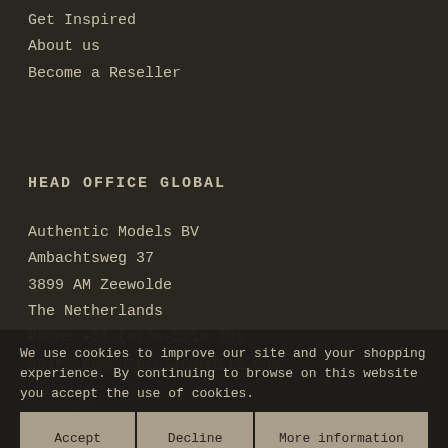Get Inspired
About us
Become a Reseller
HEAD OFFICE GLOBAL
Authentic Models BV
Ambachtsweg 37
3899 AM Zeewolde
The Netherlands
Phone +31-(0)36-5219 191
sales.eu@authenticmodels.com
OFFICE UNITED STATES
Authe...
50 Irving...
Eugene,...
Phone 541-686-4666
We use cookies to improve our site and your shopping experience. By continuing to browse on this website you accept the use of cookies.
Accept
Decline
More information